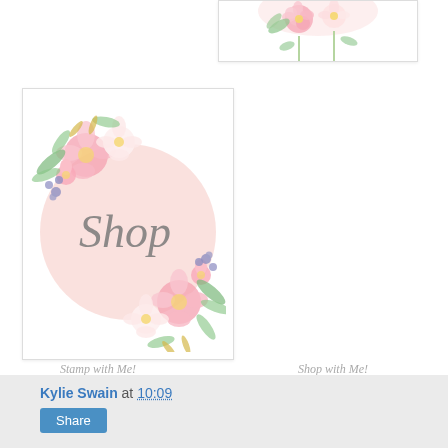[Figure (illustration): Partial floral watercolor image at top, cropped, with pink and green flowers on white background with border]
[Figure (illustration): Floral watercolor shop button: pink circle with 'Shop' written in cursive script, surrounded by pink, white, and peach watercolor roses with green leaves and blue berries]
Stamp with Me!
Shop with Me!
Kylie Swain at 10:09
Share